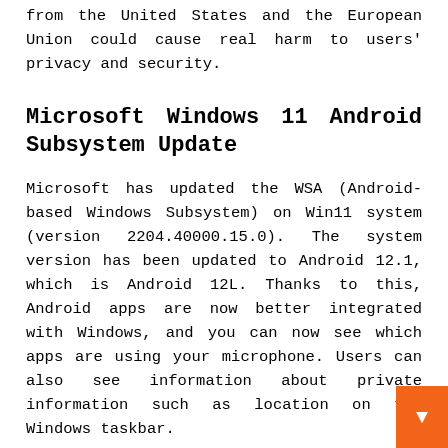from the United States and the European Union could cause real harm to users' privacy and security.
Microsoft Windows 11 Android Subsystem Update
Microsoft has updated the WSA (Android-based Windows Subsystem) on Win11 system (version 2204.40000.15.0). The system version has been updated to Android 12.1, which is Android 12L. Thanks to this, Android apps are now better integrated with Windows, and you can now see which apps are using your microphone. Users can also see information about private information such as location on the Windows taskbar.